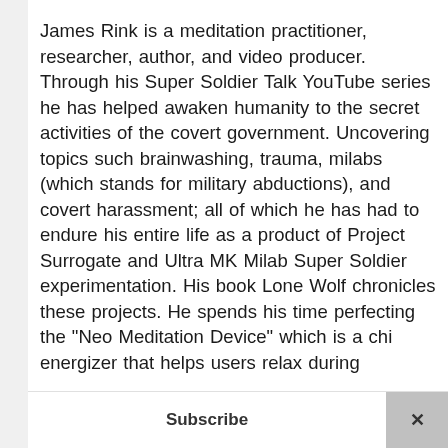James Rink is a meditation practitioner, researcher, author, and video producer. Through his Super Soldier Talk YouTube series he has helped awaken humanity to the secret activities of the covert government. Uncovering topics such brainwashing, trauma, milabs (which stands for military abductions), and covert harassment; all of which he has had to endure his entire life as a product of Project Surrogate and Ultra MK Milab Super Soldier experimentation. His book Lone Wolf chronicles these projects. He spends his time perfecting the "Neo Meditation Device" which is a chi energizer that helps users relax during
Subscribe